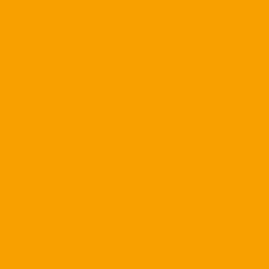[Figure (illustration): Solid orange/amber colored rectangular panel on the left side of the page]
marinate in refrigerator.
Haven't tried cooking over ch... on flames... my grill has radia... below. The pic of grill shown ... monster bad azz and way ov... HeHeHeHe!!!
Plank Salmon... tried it once.
Posted by: Cat5Cane | Febru...
I use lump charcoal and will n...
Try this salmon recipe becau...
1 cup of Temari or Premium S...
1 cup of water
3 Tablespoons of honey
3 Tablespoons of toasted ses... rough chopped green onion ... some rouch chopped garlic some rough chopped ginger...
Put all this in a blender and b... least 2 hours preferably ove...